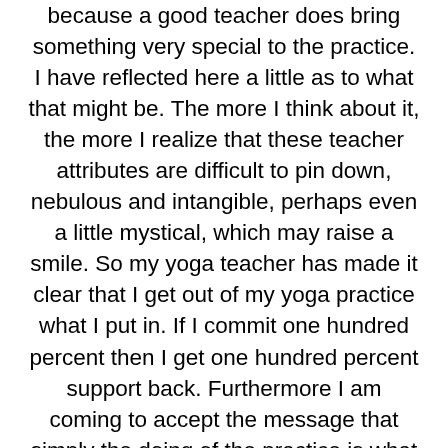because a good teacher does bring something very special to the practice. I have reflected here a little as to what that might be. The more I think about it, the more I realize that these teacher attributes are difficult to pin down, nebulous and intangible, perhaps even a little mystical, which may raise a smile. So my yoga teacher has made it clear that I get out of my yoga practice what I put in. If I commit one hundred percent then I get one hundred percent support back. Furthermore I am coming to accept the message that simply the doing of the practice is what it is all about. No aspirations or expectations. Turn up to your mat do the needful and experience whatever comes. This no nonsense pared down student teacher relationship works for me but has taken some time in its cultivation. I've been around